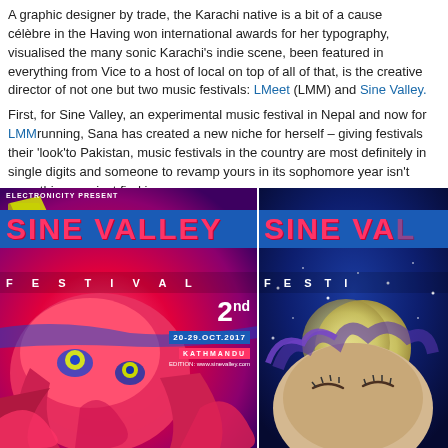A graphic designer by trade, the Karachi native is a bit of a cause célèbre in the Having won international awards for her typography, visualised the many sonic Karachi's indie scene, been featured in everything from Vice to a host of local on top of all of that, is the creative director of not one but two music festivals: L Meet (LMM) and Sine Valley.
First, for Sine Valley, an experimental music festival in Nepal and now for LMM running, Sana has created a new niche for herself – giving festivals their 'look' to Pakistan, music festivals in the country are most definitely in single digits an someone to revamp yours in its sophomore year isn't something you just find i
[Figure (photo): Two Sine Valley Festival posters side by side. Left poster: colorful psychedelic design with abstract creature/face in red, pink, purple tones. Text reads 'ELECTRONICITY PRESENT', 'SINE VALLEY', 'FESTIVAL', '2nd 20-29.OCT.2017', 'KATHMANDU', 'EDITION: www.sinevalley.com'. Right poster: blue cosmic/space themed design showing a face with closed eyes and celestial elements. Text reads 'SINE VA...' and 'FESTI...']